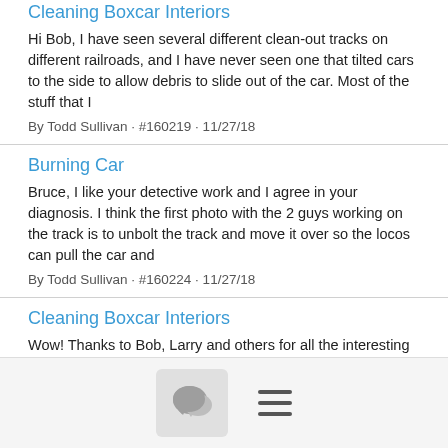Cleaning Boxcar Interiors
Hi Bob, I have seen several different clean-out tracks on different railroads, and I have never seen one that tilted cars to the side to allow debris to slide out of the car. Most of the stuff that I
By Todd Sullivan · #160219 · 11/27/18
Burning Car
Bruce, I like your detective work and I agree in your diagnosis. I think the first photo with the 2 guys working on the track is to unbolt the track and move it over so the locos can pull the car and
By Todd Sullivan · #160224 · 11/27/18
Cleaning Boxcar Interiors
Wow! Thanks to Bob, Larry and others for all the interesting information and photos on tilted clean-out tracks. I learned a lot! Todd Sullivan
By Todd Sullivan · #160235 · 11/28/18
Card On Boxcar
[Figure (screenshot): Mobile app toolbar with chat/speech bubble icon button and hamburger menu icon]